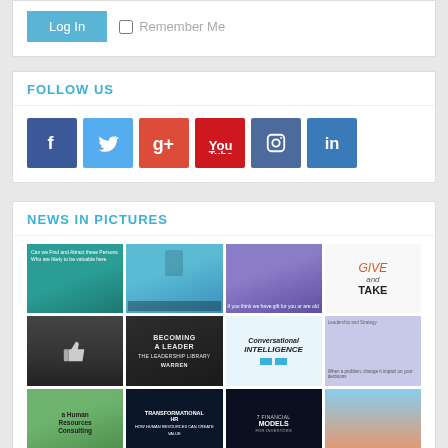[Figure (screenshot): Log In button with Remember Me checkbox]
FOLLOW US
[Figure (infographic): Social media icons: Facebook, Twitter, Google+, YouTube, Instagram, LinkedIn]
NEWS IN PICTURES
[Figure (infographic): Grid of news/book thumbnails: teal article, blue speaker, purple speaker, Give and Take book, thumbs-up, Becoming a Leader, Conversational Intelligence, purple card, a Human Resources Consulting, Transformational HR, 7 Financial Models, sky gradient]